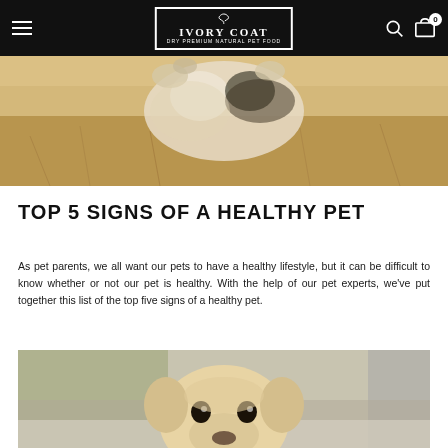IVORY COAT — site navigation with hamburger menu, logo, search, and cart
[Figure (photo): A dog jumping or running outdoors in a field of tall dry grass, photographed from below showing paws and fur against a warm golden background]
TOP 5 SIGNS OF A HEALTHY PET
As pet parents, we all want our pets to have a healthy lifestyle, but it can be difficult to know whether or not our pet is healthy. With the help of our pet experts, we've put together this list of the top five signs of a healthy pet.
[Figure (photo): A close-up portrait of a golden/yellow Labrador puppy looking up at the camera with big dark eyes, blurred indoor background]